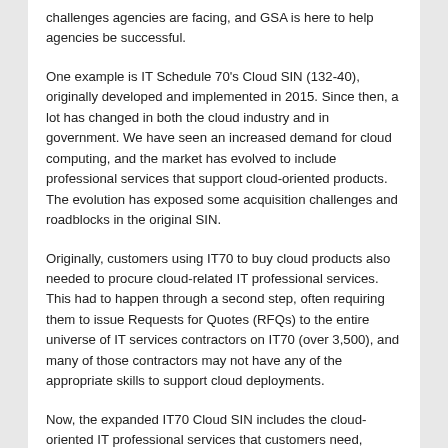challenges agencies are facing, and GSA is here to help agencies be successful.
One example is IT Schedule 70's Cloud SIN (132-40), originally developed and implemented in 2015. Since then, a lot has changed in both the cloud industry and in government. We have seen an increased demand for cloud computing, and the market has evolved to include professional services that support cloud-oriented products. The evolution has exposed some acquisition challenges and roadblocks in the original SIN.
Originally, customers using IT70 to buy cloud products also needed to procure cloud-related IT professional services. This had to happen through a second step, often requiring them to issue Requests for Quotes (RFQs) to the entire universe of IT services contractors on IT70 (over 3,500), and many of those contractors may not have any of the appropriate skills to support cloud deployments.
Now, the expanded IT70 Cloud SIN includes the cloud-oriented IT professional services that customers need, providing them access to a full cloud solution in one place. Additionally, we have clarified a few ambiguities about the definition of cloud products that